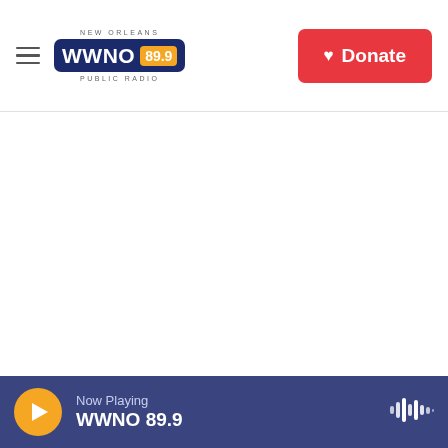NEW ORLEANS WWNO 89.9 PUBLIC RADIO | Donate
[Figure (photo): Blank/white image area representing a journalist running past federal officers during a protest against racial injustice in front of the Mark O. Hatfield U.S. Courthouse on July 30 in Portland, Ore.]
Nathan Howard / Getty Images
A journalist runs past federal officers during a protest against racial injustice in front of the Mark O. Hatfield U.S. Courthouse on July 30 in Portland, Ore.
Now Playing WWNO 89.9